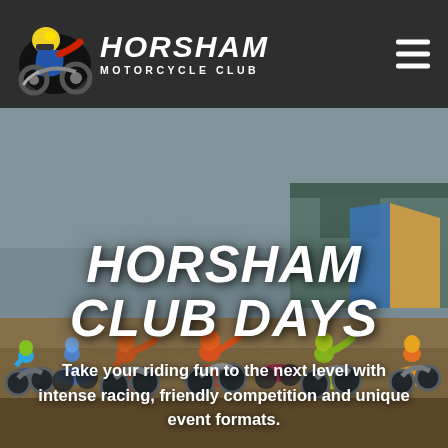HORSHAM MOTORCYCLE CLUB
[Figure (photo): Motocross riders at starting gate, colorful gear and bikes, overcast sky, racing facility in background]
HORSHAM CLUB DAYS
Take your riding fun to the next level with intense racing, friendly competition and unique event formats.